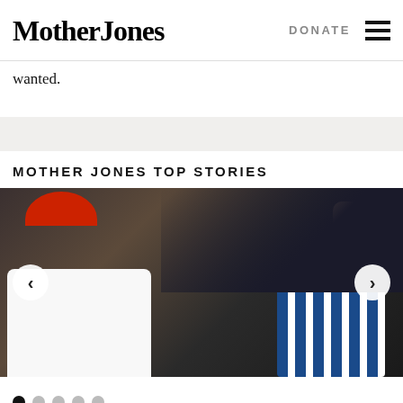Mother Jones | DONATE
wanted.
MOTHER JONES TOP STORIES
[Figure (photo): A man in a red MAGA cap and white polo shirt pointing, next to a smiling blonde woman in a blue striped outfit waving, with a dark background. Carousel navigation arrows on left and right.]
● ○ ○ ○ ○